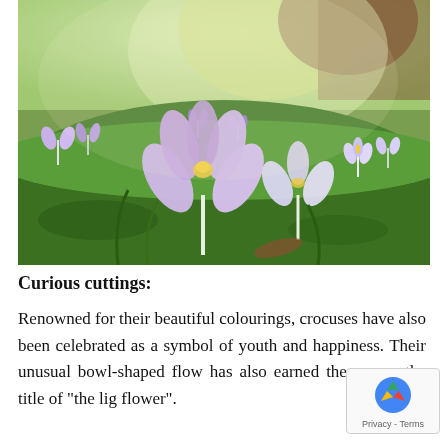[Figure (photo): Photograph of purple and white crocus flowers blooming in a garden lawn with green grass and moss, trees visible in the background, sunlit garden scene]
Curious cuttings:
Renowned for their beautiful colourings, crocuses have also been celebrated as a symbol of youth and happiness. Their unusual bowl-shaped flow has also earned the crocus the title of "the lig flower".